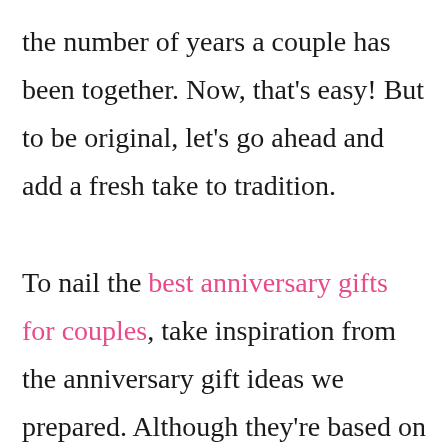the number of years a couple has been together. Now, that's easy! But to be original, let's go ahead and add a fresh take to tradition.

To nail the best anniversary gifts for couples, take inspiration from the anniversary gift ideas we prepared. Although they're based on a couple's year as husband and wife, the gift list sure fits any couple's taste. They can be fun and